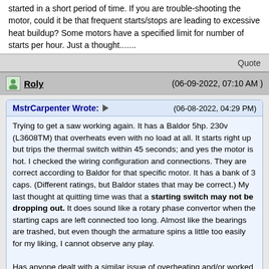started in a short period of time. If you are trouble-shooting the motor, could it be that frequent starts/stops are leading to excessive heat buildup? Some motors have a specified limit for number of starts per hour. Just a thought.......
Quote
Roly   (06-09-2022, 07:10 AM )
MstrCarpenter Wrote:   (06-08-2022, 04:29 PM)
Trying to get a saw working again. It has a Baldor 5hp. 230v (L3608TM) that overheats even with no load at all. It starts right up but trips the thermal switch within 45 seconds; and yes the motor is hot. I checked the wiring configuration and connections. They are correct according to Baldor for that specific motor. It has a bank of 3 caps. (Different ratings, but Baldor states that may be correct.) My last thought at quitting time was that a starting switch may not be dropping out. It does sound like a rotary phase convertor when the starting caps are left connected too long. Almost like the bearings are trashed, but even though the armature spins a little too easily for my liking, I cannot observe any play.

Has anyone dealt with a similar issue of overheating and/or worked on the start switch on these motors?